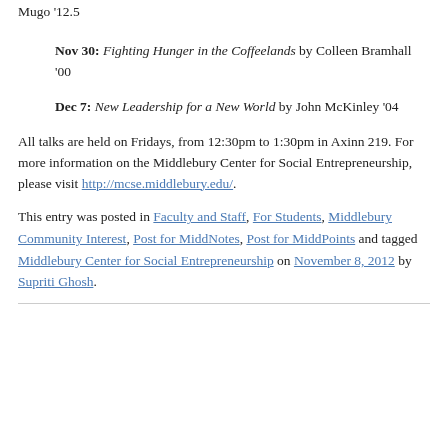Mugo '12.5
Nov 30: Fighting Hunger in the Coffeelands by Colleen Bramhall '00
Dec 7: New Leadership for a New World by John McKinley '04
All talks are held on Fridays, from 12:30pm to 1:30pm in Axinn 219. For more information on the Middlebury Center for Social Entrepreneurship, please visit http://mcse.middlebury.edu/.
This entry was posted in Faculty and Staff, For Students, Middlebury Community Interest, Post for MiddNotes, Post for MiddPoints and tagged Middlebury Center for Social Entrepreneurship on November 8, 2012 by Supriti Ghosh.